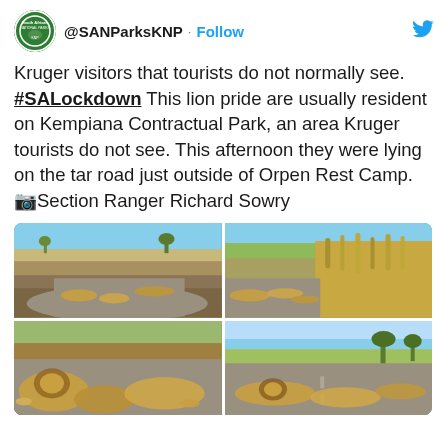@SANParksKNP · Follow
Kruger visitors that tourists do not normally see.  #SALockdown This lion pride are usually resident on Kempiana Contractual Park, an area Kruger tourists do not see. This afternoon they were lying on the tar road just outside of Orpen Rest Camp. 📷Section Ranger Richard Sowry
[Figure (photo): Four photos in a 2x2 grid showing a lion pride lying on a tar road outside Orpen Rest Camp in Kruger National Park. Top-left: wide shot of lions spread across the road. Top-right: closer view of lions resting near grass. Bottom-left: ground-level view of lions resting on road. Bottom-right: another angle of lions on the road with trees in background.]